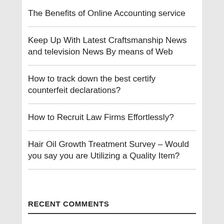The Benefits of Online Accounting service
Keep Up With Latest Craftsmanship News and television News By means of Web
How to track down the best certify counterfeit declarations?
How to Recruit Law Firms Effortlessly?
Hair Oil Growth Treatment Survey – Would you say you are Utilizing a Quality Item?
RECENT COMMENTS